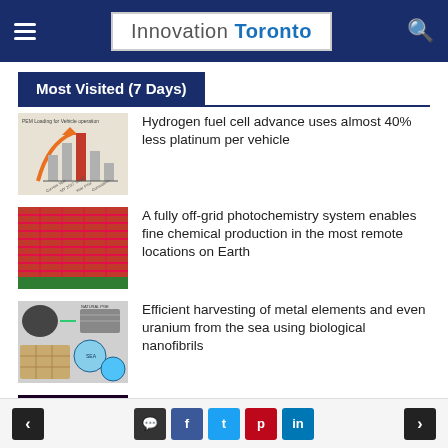Innovation Toronto
Most Visited (7 Days)
Hydrogen fuel cell advance uses almost 40% less platinum per vehicle
A fully off-grid photochemistry system enables fine chemical production in the most remote locations on Earth
Efficient harvesting of metal elements and even uranium from the sea using biological nanofibrils
A new approach to clearing toxic waste
< comment f t p in >